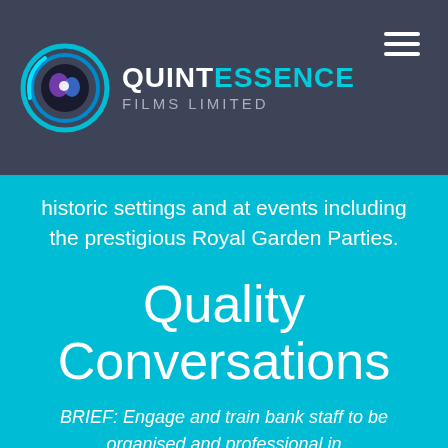[Figure (logo): Quintessence Films Limited logo with circular lens icon in teal/blue tones on dark navy header background, with hamburger menu icon top right]
historic settings and at events including the prestigious Royal Garden Parties.
Quality Conversations
BRIEF: Engage and train bank staff to be organised and professional in